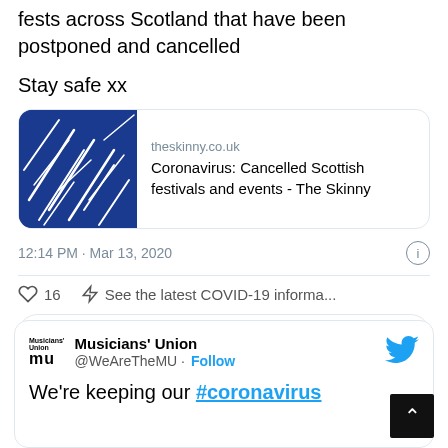fests across Scotland that have been postponed and cancelled
Stay safe xx
[Figure (screenshot): Link preview card for theskinny.co.uk article: 'Coronavirus: Cancelled Scottish festivals and events - The Skinny', with blue illustrated thumbnail]
12:14 PM · Mar 13, 2020
16  See the latest COVID-19 informa...
Read 1 reply
Musicians' Union @WeAreTheMU · Follow
We're keeping our #coronavirus